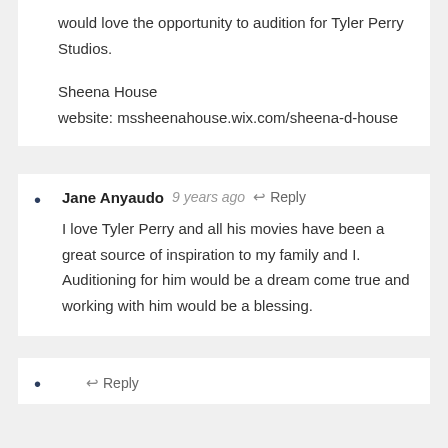would love the opportunity to audition for Tyler Perry Studios.
Sheena House
website: mssheenahouse.wix.com/sheena-d-house
Jane Anyaudo  9 years ago  Reply
I love Tyler Perry and all his movies have been a great source of inspiration to my family and I. Auditioning for him would be a dream come true and working with him would be a blessing.